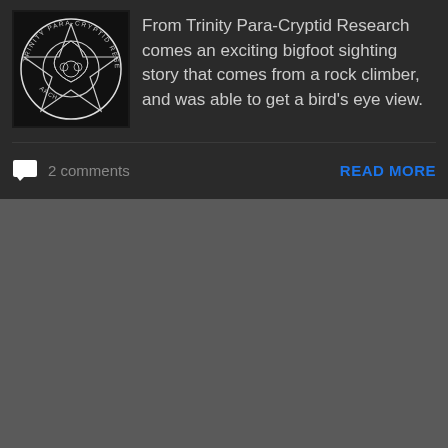[Figure (logo): Trinity Para-Cryptid Research circular logo with Celtic knot design and animal figures, black and white]
From Trinity Para-Cryptid Research comes an exciting bigfoot sighting story that comes from a rock climber, and was able to get a bird's eye view.
2 comments
READ MORE